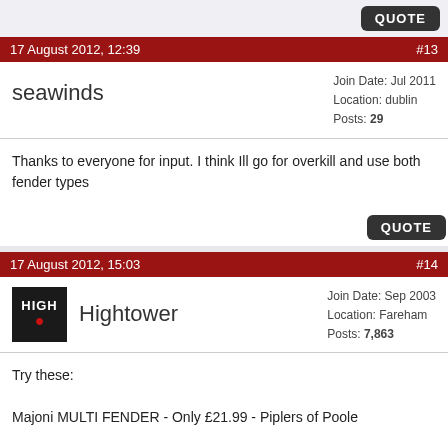QUOTE
17 August 2012, 12:39 #13
seawinds
Join Date: Jul 2011
Location: dublin
Posts: 29
Thanks to everyone for input. I think Ill go for overkill and use both fender types
QUOTE
17 August 2012, 15:03 #14
Hightower
Join Date: Sep 2003
Location: Fareham
Posts: 7,863
Try these:

Majoni MULTI FENDER - Only £21.99 - Piplers of Poole

They're very good!